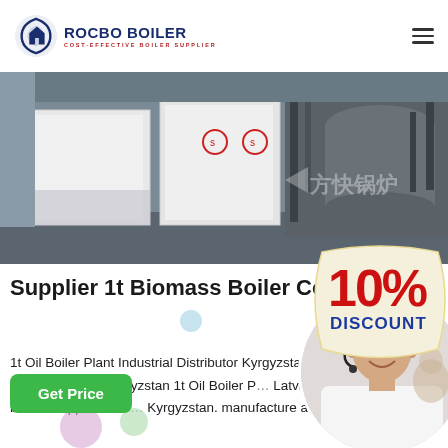ROCBO BOILER - COST-EFFECTIVE BOILER SUPPLIER
[Figure (photo): Industrial boilers in a factory/warehouse setting, white rectangular boiler units in foreground, cylindrical tanks with pipes in background. Chinese watermark text visible.]
Supplier 1t Biomass Boiler Commercial
[Figure (infographic): 10% DISCOUNT badge in red and blue text on a cream/beige tag-shaped background]
1t Oil Boiler Plant Industrial Distributor Kyrgyzstan. Energy Saving Agent 1t Oil Boiler Plant Kyrgyzstan 1t Oil Boiler Plant Latvia. 9mw industrial gas boilers supplier. 1t oil boiler Kyrgyzstan. manufacture and supply Boilers and
[Figure (photo): Female customer service agent wearing headset, smiling, in circular cropped photo]
Get Price